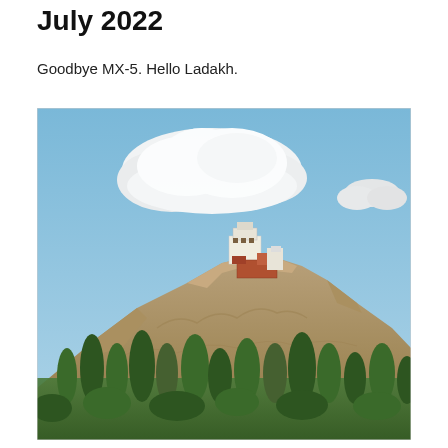July 2022
Goodbye MX-5. Hello Ladakh.
[Figure (photo): A photograph of a rocky mountain with a white Buddhist monastery or fort perched at its summit, red and white structures visible, surrounded by arid rocky terrain. Green trees (poplars and others) fill the lower foreground. A large fluffy white cloud floats in the blue sky above the hilltop structure. Landscape typical of Ladakh, India.]